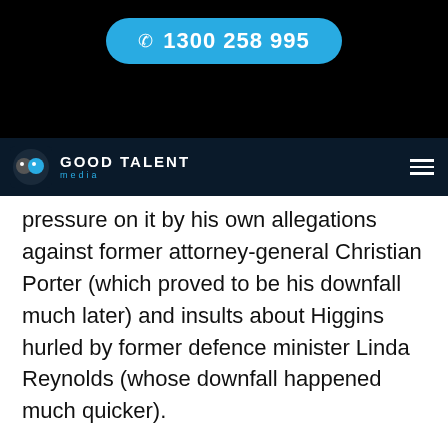[Figure (logo): Good Talent Media website header with phone number pill (1300 258 995) on black background and navigation bar with logo and hamburger menu]
pressure on it by his own allegations against former attorney-general Christian Porter (which proved to be his downfall much later) and insults about Higgins hurled by former defence minister Linda Reynolds (whose downfall happened much quicker).
Reporters made the link between Morrison's comment and the death of British peer Sarah Everard the